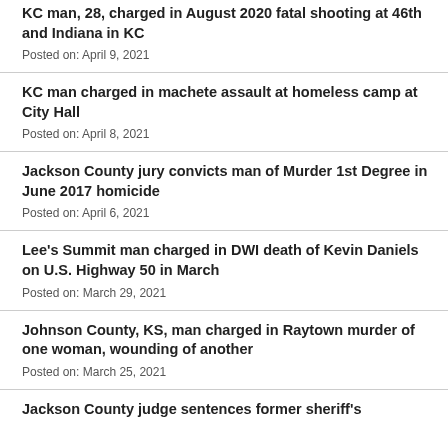KC man, 28, charged in August 2020 fatal shooting at 46th and Indiana in KC
Posted on: April 9, 2021
KC man charged in machete assault at homeless camp at City Hall
Posted on: April 8, 2021
Jackson County jury convicts man of Murder 1st Degree in June 2017 homicide
Posted on: April 6, 2021
Lee's Summit man charged in DWI death of Kevin Daniels on U.S. Highway 50 in March
Posted on: March 29, 2021
Johnson County, KS, man charged in Raytown murder of one woman, wounding of another
Posted on: March 25, 2021
Jackson County judge sentences former sheriff's